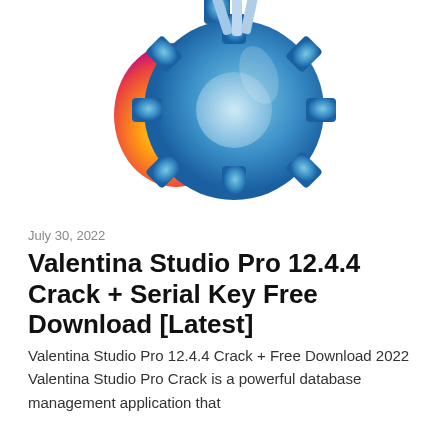[Figure (logo): 3D rendered gear/cog logo with blue metallic color and orange/yellow flame or energy element on the left side, partially cropped at top]
July 30, 2022
Valentina Studio Pro 12.4.4 Crack + Serial Key Free Download [Latest]
Valentina Studio Pro 12.4.4 Crack + Free Download 2022 Valentina Studio Pro Crack is a powerful database management application that
Continue reading